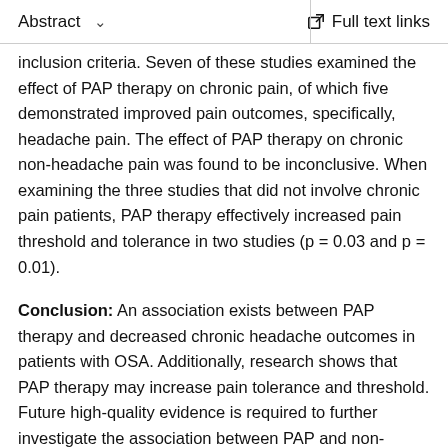Abstract   ∨   Full text links
inclusion criteria. Seven of these studies examined the effect of PAP therapy on chronic pain, of which five demonstrated improved pain outcomes, specifically, headache pain. The effect of PAP therapy on chronic non-headache pain was found to be inconclusive. When examining the three studies that did not involve chronic pain patients, PAP therapy effectively increased pain threshold and tolerance in two studies (p = 0.03 and p = 0.01).
Conclusion: An association exists between PAP therapy and decreased chronic headache outcomes in patients with OSA. Additionally, research shows that PAP therapy may increase pain tolerance and threshold. Future high-quality evidence is required to further investigate the association between PAP and non-headache chronic pain.